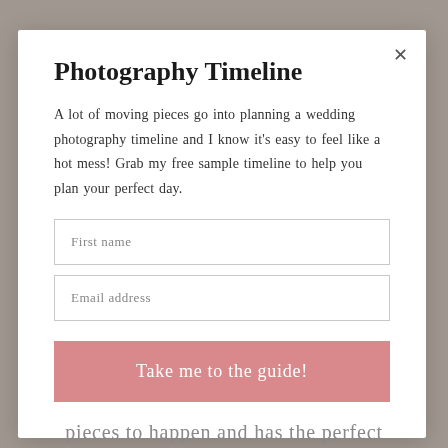[Figure (photo): Background photo, partially visible behind modal overlay]
Photography Timeline
A lot of moving pieces go into planning a wedding photography timeline and I know it's easy to feel like a hot mess! Grab my free sample timeline to help you plan your perfect day.
First name
Email address
Take me to the guide!
pieces to happen and has the perfect